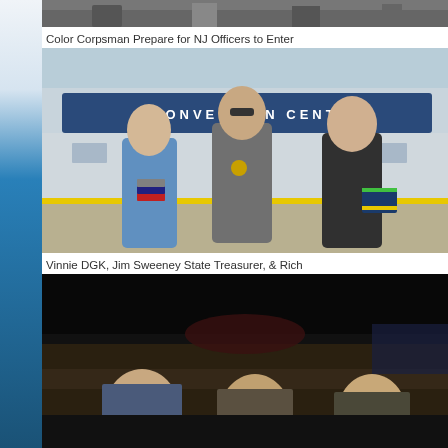[Figure (photo): Top partial photo showing Color Corpsman preparing for NJ Officers to enter, cropped at top of page]
Color Corpsman Prepare for NJ Officers to Enter
[Figure (photo): Three men standing in front of a Convention Center. Left: man in light blue suit holding books, center: man in gray suit with sunglasses and medal, right: man in dark suit holding a binder. Identified as Vinnie DGK, Jim Sweeney State Treasurer, and Rich.]
Vinnie DGK, Jim Sweeney State Treasurer, & Rich
[Figure (photo): Bottom partial photo showing people seated at a table in a dark room, faces partially visible at bottom of frame]